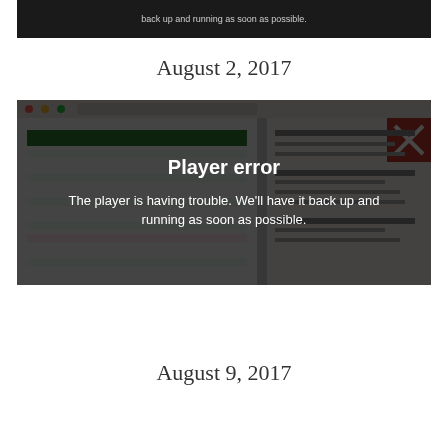[Figure (screenshot): Dark image with white text partially visible: 'back up and running as soon as possible.']
August 2, 2017
[Figure (screenshot): Screenshot of a spreadsheet application overlaid with a player error message. Bold white text reads 'Player error'. Below it reads 'The player is having trouble. We'll have it back up and running as soon as possible.' A red X button is visible in the top right corner of the overlay.]
August 9, 2017